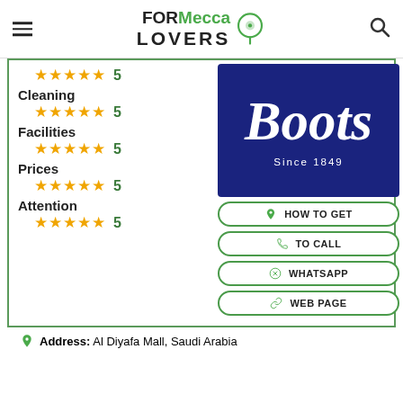FORMecca LOVERS
Cleaning 5 stars 5
Facilities 5 stars 5
Prices 5 stars 5
Attention 5 stars 5
[Figure (logo): Boots pharmacy logo on dark blue background with text 'Since 1849']
HOW TO GET
TO CALL
WHATSAPP
WEB PAGE
Address: Al Diyafa Mall, Saudi Arabia